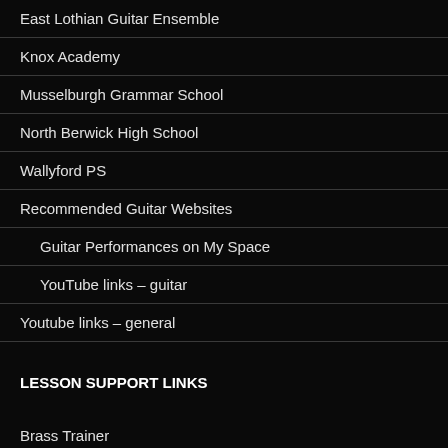East Lothian Guitar Ensemble
Knox Academy
Musselburgh Grammar School
North Berwick High School
Wallyford PS
Recommended Guitar Websites
Guitar Performances on My Space
YouTube links – guitar
Youtube links – general
LESSON SUPPORT LINKS
Brass Trainer